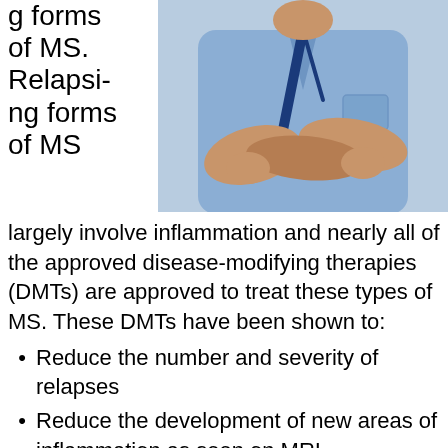g forms of MS. Relapsing forms of MS largely involve inflammation and nearly all of the approved disease-modifying therapies (DMTs) are approved to treat these types of MS. These DMTs have been shown to:
[Figure (photo): A nurse or healthcare professional in blue scrubs with arms crossed, shown from the torso down, with a dark blue lanyard.]
Reduce the number and severity of relapses
Reduce the development of new areas of inflammation as seen on MRI